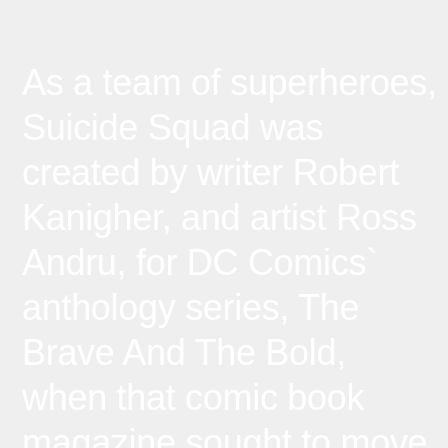As a team of superheroes, Suicide Squad was created by writer Robert Kanigher, and artist Ross Andru, for DC Comics` anthology series, The Brave And The Bold, when that comic book magazine sought to move on from anthologizing previously published material in favor of new characters with issue # 25 in September 1959. Though the team experienced a number of personnel changes over the years, the premise of supervillains released from Belle Reve (beautiful dream) Prison to